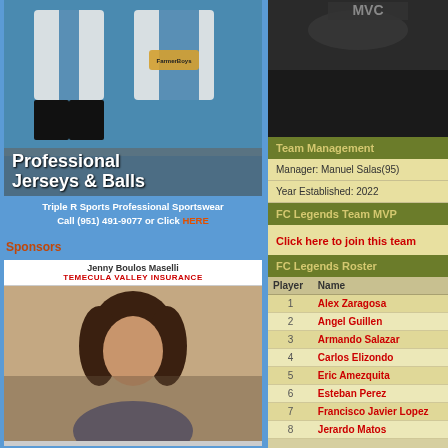[Figure (photo): Soccer jerseys advertisement - Professional Jerseys & Balls with FarmerBoys branding]
Triple R Sports Professional Sportswear
Call (951) 491-9077 or Click HERE
Sponsors
[Figure (photo): Jenny Boulos Maselli - Temecula Valley Insurance - woman with curly dark hair]
[Figure (photo): Dark crowd/stadium photo top right]
Team Management
Manager: Manuel Salas(95)
Year Established: 2022
FC Legends Team MVP
Click here to join this team
FC Legends Roster
| Player | Name |
| --- | --- |
| 1 | Alex Zaragosa |
| 2 | Angel Guillen |
| 3 | Armando Salazar |
| 4 | Carlos Elizondo |
| 5 | Eric Amezquita |
| 6 | Esteban Perez |
| 7 | Francisco Javier Lopez |
| 8 | Jerardo Matos |